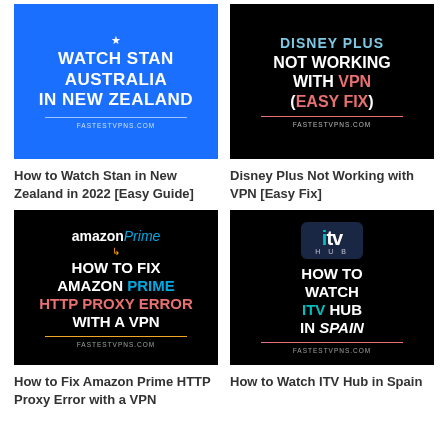[Figure (illustration): Blue background thumbnail with text: WATCH STAN AUSTRALIA IN NEW ZEALAND, FASTESTVPNS.COM]
How to Watch Stan in New Zealand in 2022 [Easy Guide]
[Figure (illustration): Black background thumbnail with text: DISNEY PLUS NOT WORKING WITH VPN (EASY FIX), FASTESTVPNS.COM]
Disney Plus Not Working with VPN [Easy Fix]
[Figure (illustration): Black background thumbnail with amazon Prime logo and text: HOW TO FIX AMAZON PRIME HTTP PROXY ERROR WITH A VPN, FASTESTVPNS.COM]
How to Fix Amazon Prime HTTP Proxy Error with a VPN
[Figure (illustration): Black background thumbnail with ITV Hub logo and text: HOW TO WATCH ITV HUB IN SPAIN, FASTESTVPNS.COM]
How to Watch ITV Hub in Spain